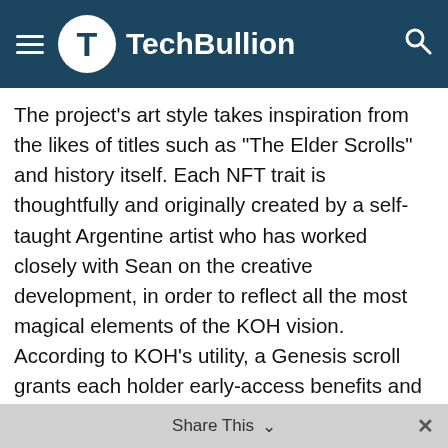TechBullion
The project’s art style takes inspiration from the likes of titles such as “The Elder Scrolls” and history itself. Each NFT trait is thoughtfully and originally created by a self-taught Argentine artist who has worked closely with Sean on the creative development, in order to reflect all the most magical elements of the KOH vision. According to KOH’s utility, a Genesis scroll grants each holder early-access benefits and the best possible value when looking to invest into the future knight collection. Users can maximize their ethereum investment by entering into the Genesis scroll mint because they will be eligible for a free knight once they launch, just by holding 2 or more Genesis scrolls in their wallet. Current information has each scroll listed for mint at 0.09 ETH. The release date of the Knights has yet to be announced. However, it is known that each knight is made up from unique combinations of armor pieces,
Share This